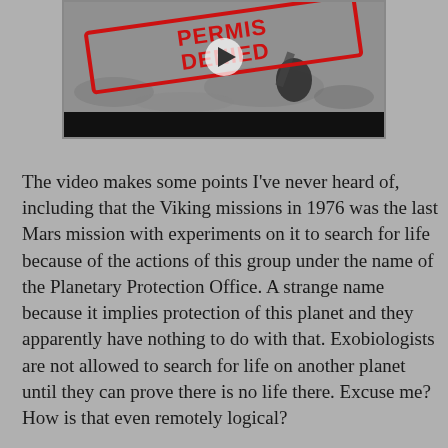[Figure (screenshot): A video thumbnail showing a 'PERMISSION DENIED' stamp overlaid on a moon/Mars surface image, with a play button in the center and a black control bar at the bottom.]
The video makes some points I've never heard of, including that the Viking missions in 1976 was the last Mars mission with experiments on it to search for life because of the actions of this group under the name of the Planetary Protection Office.  A strange name because it implies protection of this planet and they apparently have nothing to do with that.  Exobiologists are not allowed to search for life on another planet until they can prove there is no life there.  Excuse me?   How is that even remotely logical?
No missions to planets that might have microbes on them - think Mars because it might harm microbial life on the planet.  What about a sterile body like Earth's moon?  Can't go there either because it might harm microbes that could